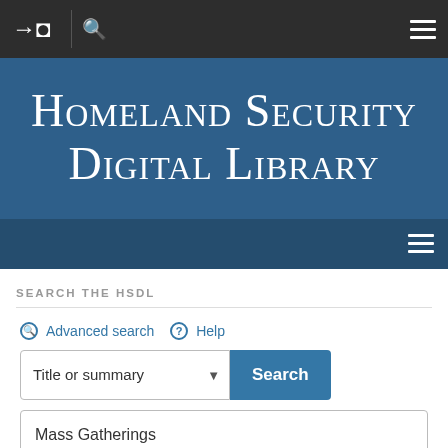Homeland Security Digital Library – navigation bar
Homeland Security Digital Library
SEARCH THE HSDL
Advanced search   Help
Title or summary   Search
Mass Gatherings